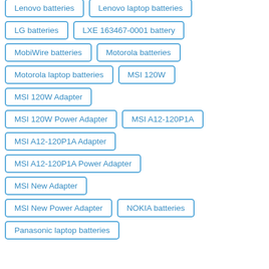Lenovo batteries
Lenovo laptop batteries
LG batteries
LXE 163467-0001 battery
MobiWire batteries
Motorola batteries
Motorola laptop batteries
MSI 120W
MSI 120W Adapter
MSI 120W Power Adapter
MSI A12-120P1A
MSI A12-120P1A Adapter
MSI A12-120P1A Power Adapter
MSI New Adapter
MSI New Power Adapter
NOKIA batteries
Panasonic laptop batteries